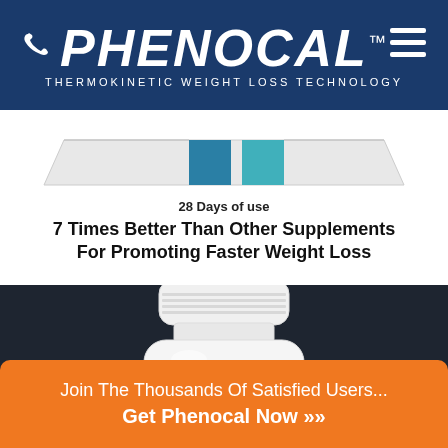PHENOCAL™ THERMOKINETIC WEIGHT LOSS TECHNOLOGY
[Figure (bar-chart): Comparison bar chart showing Phenocal vs other supplements]
28 Days of use
7 Times Better Than Other Supplements For Promoting Faster Weight Loss
[Figure (photo): White Phenocal supplement bottle on dark background]
Join The Thousands Of Satisfied Users... Get Phenocal Now »»